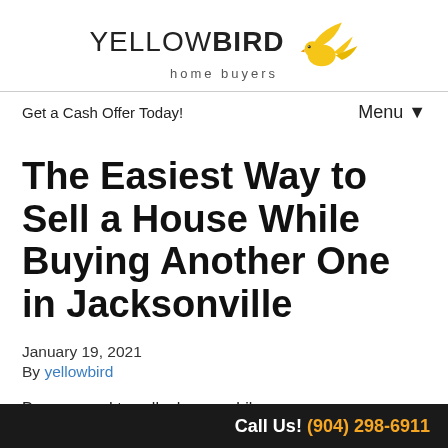[Figure (logo): Yellow Bird Home Buyers logo with a yellow bird illustration and text YELLOWBIRD home buyers]
Get a Cash Offer Today!	Menu ▼
The Easiest Way to Sell a House While Buying Another One in Jacksonville
January 19, 2021
By yellowbird
Do you need to sell a house while
Call Us! (904) 298-6911